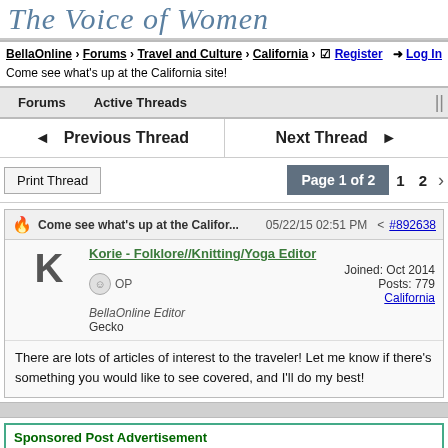The Voice of Women
BellaOnline > Forums > Travel and Culture > California > Come see what's up at the California site! | Register | Log In
Forums   Active Threads
◄ Previous Thread    Next Thread ►
Print Thread   Page 1 of 2   1   2   >
Come see what's up at the Califor...   05/22/15 02:51 PM   #892638
Korie - Folklore//Knitting/Yoga Editor   OP   BellaOnline Editor   Gecko   Joined: Oct 2014   Posts: 779   California
There are lots of articles of interest to the traveler! Let me know if there's something you would like to see covered, and I'll do my best!
Sponsored Post Advertisement